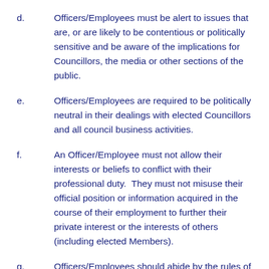d.	Officers/Employees must be alert to issues that are, or are likely to be contentious or politically sensitive and be aware of the implications for Councillors, the media or other sections of the public.
e.	Officers/Employees are required to be politically neutral in their dealings with elected Councillors and all council business activities.
f.	An Officer/Employee must not allow their interests or beliefs to conflict with their professional duty.  They must not misuse their official position or information acquired in the course of their employment to further their private interest or the interests of others (including elected Members).
g.	Officers/Employees should abide by the rules of Louth Town Council about the declaration of gifts offered to or received by them by any person seeking to do business with Louth Town